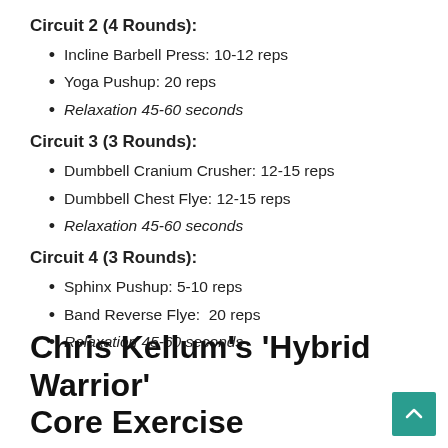Circuit 2 (4 Rounds):
Incline Barbell Press: 10-12 reps
Yoga Pushup: 20 reps
Relaxation 45-60 seconds
Circuit 3 (3 Rounds):
Dumbbell Cranium Crusher: 12-15 reps
Dumbbell Chest Flye: 12-15 reps
Relaxation 45-60 seconds
Circuit 4 (3 Rounds):
Sphinx Pushup: 5-10 reps
Band Reverse Flye:  20 reps
Relaxation 45-60 seconds
Chris Kellum's ‘Hybrid Warrior’ Core Exercise